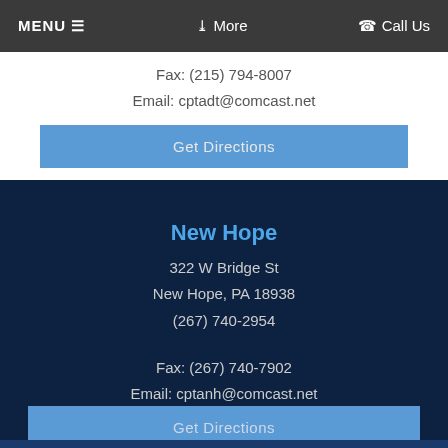MENU ☰    ❯ More    ☏ Call Us
Fax: (215) 794-8007
Email: cptadt@comcast.net
Get Directions
New Hope
322 W Bridge St
New Hope, PA 18938
(267) 740-2954
Fax: (267) 740-7902
Email: cptanh@comcast.net
Get Directions